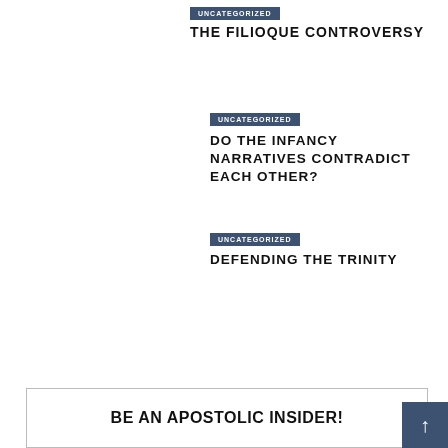UNCATEGORIZED
THE FILIOQUE CONTROVERSY
UNCATEGORIZED
DO THE INFANCY NARRATIVES CONTRADICT EACH OTHER?
UNCATEGORIZED
DEFENDING THE TRINITY
BE AN APOSTOLIC INSIDER!